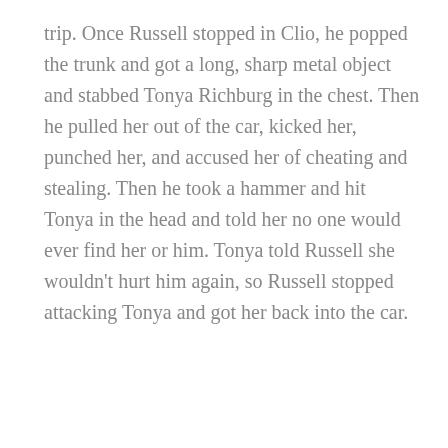trip. Once Russell stopped in Clio, he popped the trunk and got a long, sharp metal object and stabbed Tonya Richburg in the chest. Then he pulled her out of the car, kicked her, punched her, and accused her of cheating and stealing. Then he took a hammer and hit Tonya in the head and told her no one would ever find her or him. Tonya told Russell she wouldn't hurt him again, so Russell stopped attacking Tonya and got her back into the car.